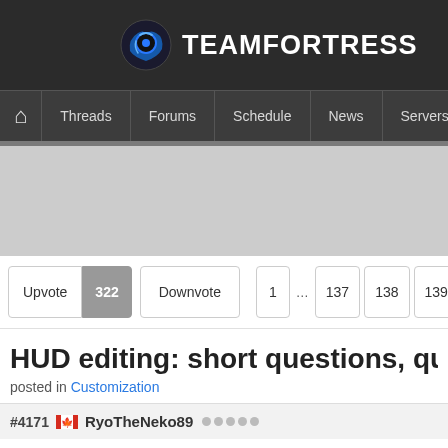[Figure (logo): TeamFortress website logo with blue disc/hand icon and white bold TEAMFORTRESS text on dark background]
Threads | Forums | Schedule | News | Servers | Galleries
[Figure (other): Gray advertisement/banner placeholder area]
Upvote 322 Downvote | 1 ... 137 138 139 1
HUD editing: short questions, quick a
posted in Customization
#4171 RyoTheNeko89